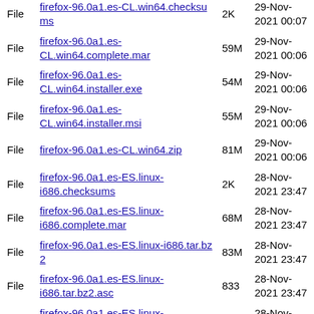| Type | Name | Size | Date |
| --- | --- | --- | --- |
| File | firefox-96.0a1.es-CL.win64.checksums | 2K | 29-Nov-2021 00:07 |
| File | firefox-96.0a1.es-CL.win64.complete.mar | 59M | 29-Nov-2021 00:06 |
| File | firefox-96.0a1.es-CL.win64.installer.exe | 54M | 29-Nov-2021 00:06 |
| File | firefox-96.0a1.es-CL.win64.installer.msi | 55M | 29-Nov-2021 00:06 |
| File | firefox-96.0a1.es-CL.win64.zip | 81M | 29-Nov-2021 00:06 |
| File | firefox-96.0a1.es-ES.linux-i686.checksums | 2K | 28-Nov-2021 23:47 |
| File | firefox-96.0a1.es-ES.linux-i686.complete.mar | 68M | 28-Nov-2021 23:47 |
| File | firefox-96.0a1.es-ES.linux-i686.tar.bz2 | 83M | 28-Nov-2021 23:47 |
| File | firefox-96.0a1.es-ES.linux-i686.tar.bz2.asc | 833 | 28-Nov-2021 23:47 |
| File | firefox-96.0a1.es-ES.linux-x86_64.checksums | 2K | 28-Nov-2021 23:48 |
| File | firefox-96.0a1.es-ES.linux-x86_64.complete.mar | 66M | 28-Nov-2021 23:47 |
| File | firefox-96.0a1.es-ES.linux-x86_64.tar.bz2 | 82M | 28-Nov-2021 23:47 |